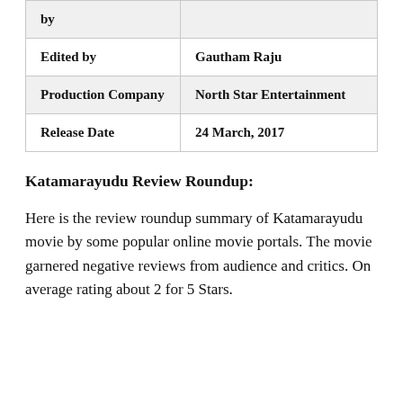| by |  |
| Edited by | Gautham Raju |
| Production Company | North Star Entertainment |
| Release Date | 24 March, 2017 |
Katamarayudu Review Roundup:
Here is the review roundup summary of Katamarayudu movie by some popular online movie portals. The movie garnered negative reviews from audience and critics. On average rating about 2 for 5 Stars.